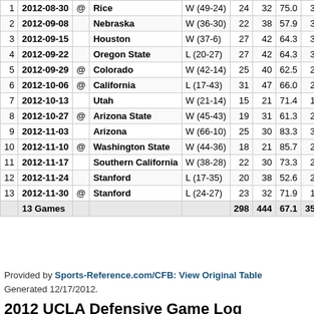| # | Date | @ | Opponent | Result | Cmp | Att | Pct | Yds |
| --- | --- | --- | --- | --- | --- | --- | --- | --- |
| 1 | 2012-08-30 | @ | Rice | W (49-24) | 24 | 32 | 75.0 | 303 |
| 2 | 2012-09-08 |  | Nebraska | W (36-30) | 22 | 38 | 57.9 | 309 |
| 3 | 2012-09-15 |  | Houston | W (37-6) | 27 | 42 | 64.3 | 320 |
| 4 | 2012-09-22 |  | Oregon State | L (20-27) | 27 | 42 | 64.3 | 372 |
| 5 | 2012-09-29 | @ | Colorado | W (42-14) | 25 | 40 | 62.5 | 281 |
| 6 | 2012-10-06 | @ | California | L (17-43) | 31 | 47 | 66.0 | 253 |
| 7 | 2012-10-13 |  | Utah | W (21-14) | 15 | 21 | 71.4 | 183 |
| 8 | 2012-10-27 | @ | Arizona State | W (45-43) | 19 | 31 | 61.3 | 274 |
| 9 | 2012-11-03 |  | Arizona | W (66-10) | 25 | 30 | 83.3 | 303 |
| 10 | 2012-11-10 | @ | Washington State | W (44-36) | 18 | 21 | 85.7 | 261 |
| 11 | 2012-11-17 |  | Southern California | W (38-28) | 22 | 30 | 73.3 | 234 |
| 12 | 2012-11-24 |  | Stanford | L (17-35) | 20 | 38 | 52.6 | 261 |
| 13 | 2012-11-30 | @ | Stanford | L (24-27) | 23 | 32 | 71.9 | 177 |
|  | 13 Games |  |  |  | 298 | 444 | 67.1 | 3531 |
Provided by Sports-Reference.com/CFB: View Original Table
Generated 12/17/2012.
2012 UCLA Defensive Game Log